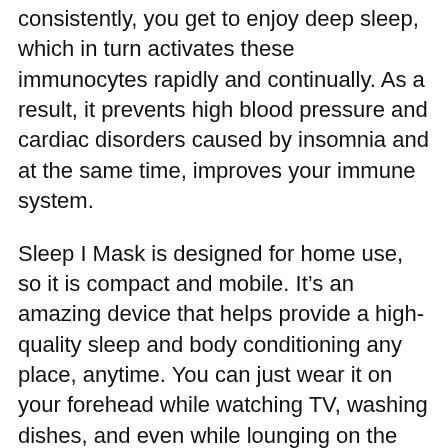consistently, you get to enjoy deep sleep, which in turn activates these immunocytes rapidly and continually. As a result, it prevents high blood pressure and cardiac disorders caused by insomnia and at the same time, improves your immune system.
Sleep I Mask is designed for home use, so it is compact and mobile. It’s an amazing device that helps provide a high-quality sleep and body conditioning any place, anytime. You can just wear it on your forehead while watching TV, washing dishes, and even while lounging on the couch, doing nothing.
Especially, it is the best product for people who often get on the plane for business trips where you have to adjust to constantly changing time differences or for people who are sensitive to